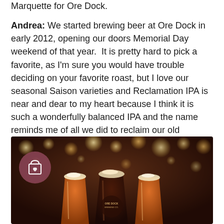Marquette for Ore Dock.
Andrea: We started brewing beer at Ore Dock in early 2012, opening our doors Memorial Day weekend of that year.  It is pretty hard to pick a favorite, as I'm sure you would have trouble deciding on your favorite roast, but I love our seasonal Saison varieties and Reclamation IPA is near and dear to my heart because I think it is such a wonderfully balanced IPA and the name reminds me of all we did to reclaim our old downtown building and create the tap room and community space that it is today.
[Figure (photo): Photo of multiple pints of beer (amber and dark) on a bar with bokeh string lights in the background and an Ore Dock Brewing Company logo visible. A shopping bag with heart icon appears in a mauve circle overlay in the lower left.]